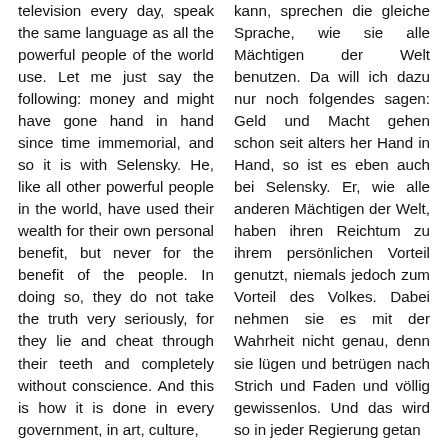television every day, speak the same language as all the powerful people of the world use. Let me just say the following: money and might have gone hand in hand since time immemorial, and so it is with Selensky. He, like all other powerful people in the world, have used their wealth for their own personal benefit, but never for the benefit of the people. In doing so, they do not take the truth very seriously, for they lie and cheat through their teeth and completely without conscience. And this is how it is done in every government, in art, culture,
kann, sprechen die gleiche Sprache, wie sie alle Mächtigen der Welt benutzen. Da will ich dazu nur noch folgendes sagen: Geld und Macht gehen schon seit alters her Hand in Hand, so ist es eben auch bei Selensky. Er, wie alle anderen Mächtigen der Welt, haben ihren Reichtum zu ihrem persönlichen Vorteil genutzt, niemals jedoch zum Vorteil des Volkes. Dabei nehmen sie es mit der Wahrheit nicht genau, denn sie lügen und betrügen nach Strich und Faden und völlig gewissenlos. Und das wird so in jeder Regierung getan